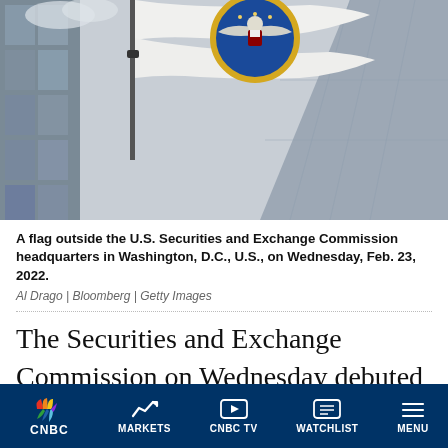[Figure (photo): A flag outside the U.S. Securities and Exchange Commission headquarters showing the SEC seal (eagle emblem with blue circle), flying against a background of a glass building facade and cloudy sky.]
A flag outside the U.S. Securities and Exchange Commission headquarters in Washington, D.C., U.S., on Wednesday, Feb. 23, 2022.
Al Drago | Bloomberg | Getty Images
The Securities and Exchange Commission on Wednesday debuted a host of new rules for SPACs that, if enacted, would mark one of the broadest attempts to date at cracking down on